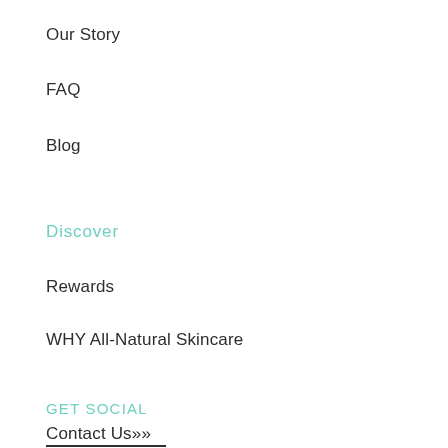Our Story
FAQ
Blog
Discover
Rewards
WHY All-Natural Skincare
GET SOCIAL
Contact Us»